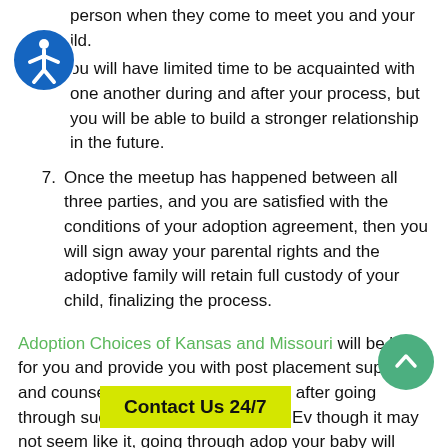person when they come to meet you and your child. You will have limited time to be acquainted with one another during and after your process, but you will be able to build a stronger relationship in the future.
7. Once the meetup has happened between all three parties, and you are satisfied with the conditions of your adoption agreement, then you will sign away your parental rights and the adoptive family will retain full custody of your child, finalizing the process.
Adoption Choices of Kansas and Missouri will be here for you and provide you with post placement support and counseling sessions to help you after going through such an emotional process. Even though it may not seem like it, going through adoption of your baby will create an even stronger bond between all three parties